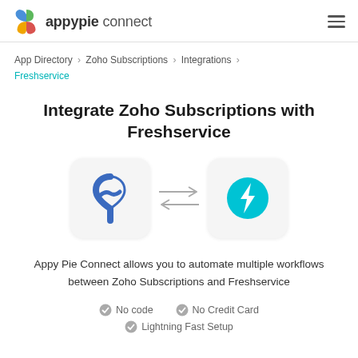appypie connect
App Directory > Zoho Subscriptions > Integrations > Freshservice
Integrate Zoho Subscriptions with Freshservice
[Figure (illustration): Two app icons with bidirectional arrows between them: Zoho Subscriptions logo (blue shield-like shape) on left, Freshservice logo (teal circle with lightning bolt) on right.]
Appy Pie Connect allows you to automate multiple workflows between Zoho Subscriptions and Freshservice
No code
No Credit Card
Lightning Fast Setup